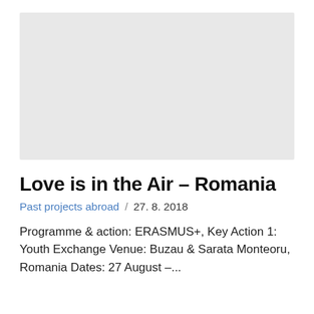[Figure (photo): Gray placeholder image at the top of the page representing a photo for the article about Love is in the Air – Romania]
Love is in the Air – Romania
Past projects abroad  /  27. 8. 2018
Programme & action: ERASMUS+, Key Action 1: Youth Exchange Venue: Buzau & Sarata Monteoru, Romania Dates: 27 August –...